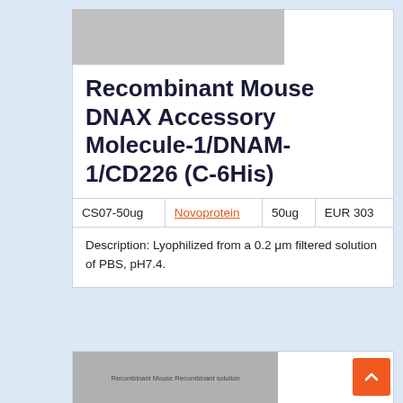Recombinant Mouse DNAX Accessory Molecule-1/DNAM-1/CD226 (C-6His)
| CS07-50ug | Novoprotein | 50ug | EUR 303 |
| --- | --- | --- | --- |
Description: Lyophilized from a 0.2 μm filtered solution of PBS, pH7.4.
[Figure (photo): Partial product image placeholder at the bottom of the page]